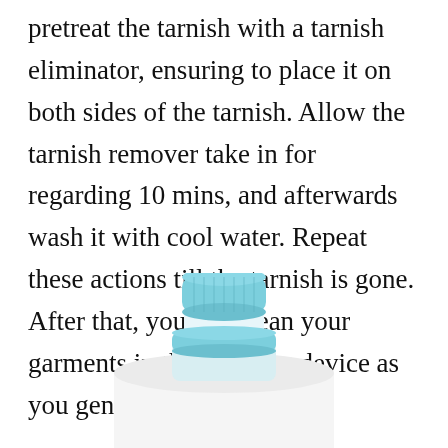pretreat the tarnish with a tarnish eliminator, ensuring to place it on both sides of the tarnish. Allow the tarnish remover take in for regarding 10 mins, and afterwards wash it with cool water. Repeat these actions till the tarnish is gone. After that, you can clean your garments in the cleaning device as you generally would.
[Figure (photo): A white laundry detergent bottle with a light blue/teal cap and collar, shown from the top portion downward against a white background.]